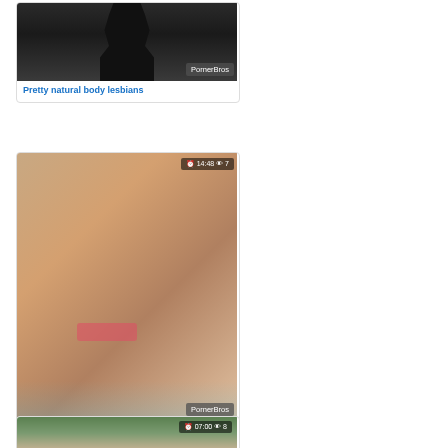[Figure (photo): Thumbnail image of woman in black outfit with PornerBros watermark]
Pretty natural body lesbians
[Figure (photo): Thumbnail image showing 14:48 duration and 7 views with PornerBros watermark]
Kinky Dane Jones Deepthroat
[Figure (photo): Thumbnail image showing 07:00 duration and 8 views with PornerBros watermark]
Pretty Babe From Erotic India